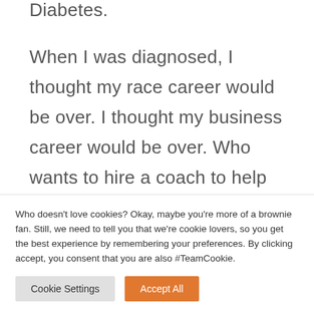Diabetes.
When I was diagnosed, I thought my race career would be over. I thought my business career would be over. Who wants to hire a coach to help them with their health who has a disease? Then I mentioned it a couple of times in my
Who doesn't love cookies? Okay, maybe you're more of a brownie fan. Still, we need to tell you that we're cookie lovers, so you get the best experience by remembering your preferences. By clicking accept, you consent that you are also #TeamCookie.